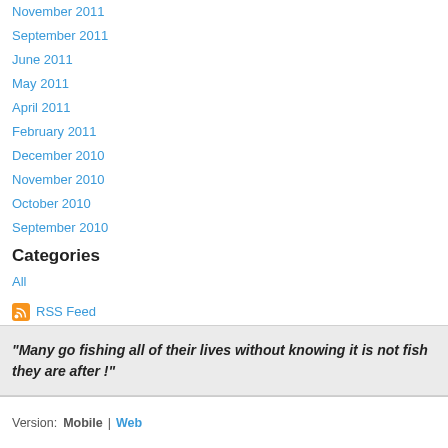November 2011
September 2011
June 2011
May 2011
April 2011
February 2011
December 2010
November 2010
October 2010
September 2010
Categories
All
RSS Feed
"Many go fishing all of their lives without knowing it is not fish they are after !"
Version: Mobile | Web